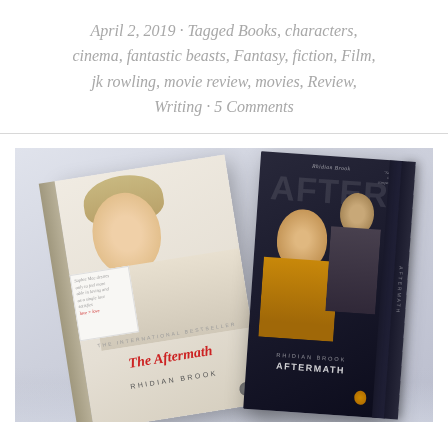April 2, 2019 · Tagged Books, characters, cinema, fantastic beasts, Fantasy, fiction, Film, jk rowling, movie review, movies, Review, Writing · 5 Comments
[Figure (photo): Two copies of 'The Aftermath' by Rhidian Brook laid on a light lavender/grey surface. The left copy shows the novel with a white cover featuring a young woman's face and red italic title text 'The Aftermath' with author name 'Rhidian Brook'. The right copy shows what appears to be a film tie-in edition with a dark cover featuring cast members in moody lighting.]